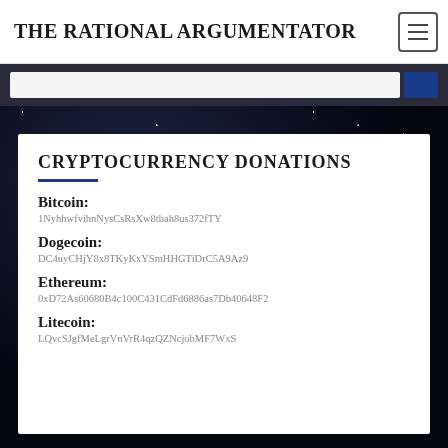THE RATIONAL ARGUMENTATOR
CRYPTOCURRENCY DONATIONS
Bitcoin:
1NyhhwfvihnNysCsRsXw8tbah8us372fTY
Dogecoin:
DC4uyCHjY8x8TKyKxYSmHHGTiDrC5A9Az9
Ethereum:
0xD72As6068 0B4c100C431CdFd6886as7Db40648F2
Litecoin:
LQvcSJgfMeLgrVnVrR4qzQZNcjobMF7WxS